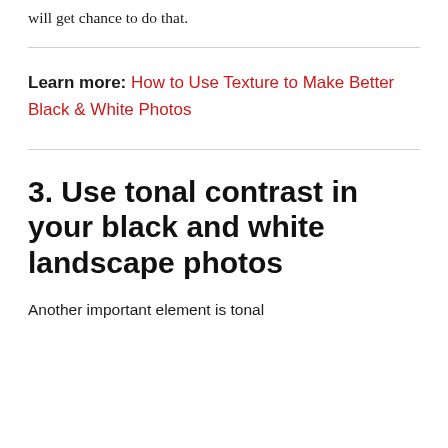will get chance to do that.
Learn more: How to Use Texture to Make Better Black & White Photos
3. Use tonal contrast in your black and white landscape photos
Another important element is tonal